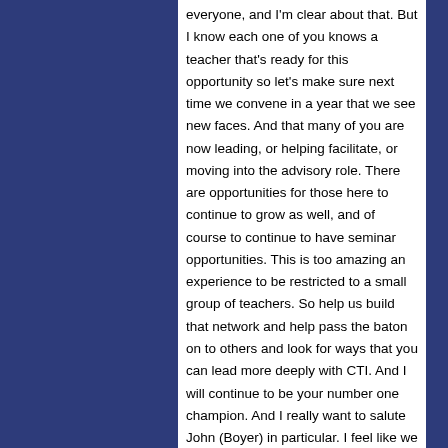everyone, and I'm clear about that. But I know each one of you knows a teacher that's ready for this opportunity so let's make sure next time we convene in a year that we see new faces. And that many of you are now leading, or helping facilitate, or moving into the advisory role. There are opportunities for those here to continue to grow as well, and of course to continue to have seminar opportunities. This is too amazing an experience to be restricted to a small group of teachers. So help us build that network and help pass the baton on to others and look for ways that you can lead more deeply with CTI. And I will continue to be your number one champion. And I really want to salute John (Boyer) in particular. I feel like we all just got a mini amazing lecture in the few minutes he was here at the podium in terms of really saluting teachers, which is what I want to do as well. I never want to miss an opportunity to say thank